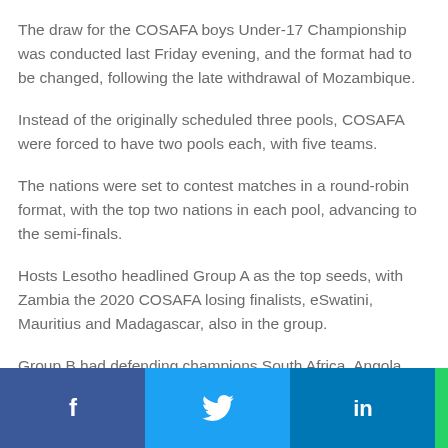The draw for the COSAFA boys Under-17 Championship was conducted last Friday evening, and the format had to be changed, following the late withdrawal of Mozambique.
Instead of the originally scheduled three pools, COSAFA were forced to have two pools each, with five teams.
The nations were set to contest matches in a round-robin format, with the top two nations in each pool, advancing to the semi-finals.
Hosts Lesotho headlined Group A as the top seeds, with Zambia the 2020 COSAFA losing finalists, eSwatini, Mauritius and Madagascar, also in the group.
Group B had defending champions South Africa, Angola, Malawi,
[Figure (infographic): Social media share bar with icons: Facebook (blue), Twitter (light blue), LinkedIn (dark blue), WhatsApp (green), SMS (green), More (gray)]